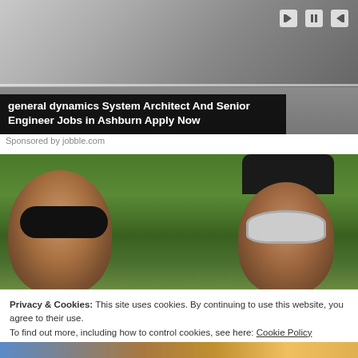[Figure (photo): Advertisement image showing hands typing on a laptop at a desk, with media player controls overlay]
general dynamics System Architect And Senior Engineer Jobs in Ashburn Apply Now
Sponsored by jobble.com
[Figure (photo): Photo of two people wearing sunglasses outdoors with green foliage in background]
Privacy & Cookies: This site uses cookies. By continuing to use this website, you agree to their use.
To find out more, including how to control cookies, see here: Cookie Policy
Close and accept